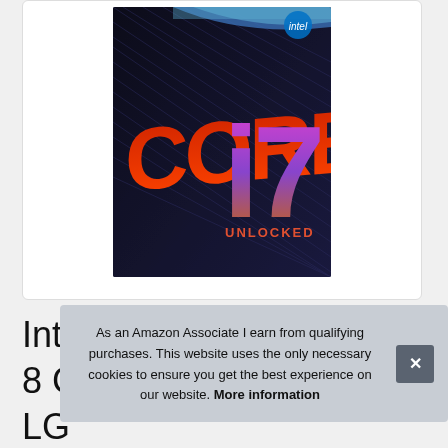[Figure (photo): Intel Core i7 Unlocked processor product box image showing 'CORE i7 UNLOCKED' text on a dark background with colorful abstract design]
Int
8 C
LG
As an Amazon Associate I earn from qualifying purchases. This website uses the only necessary cookies to ensure you get the best experience on our website. More information